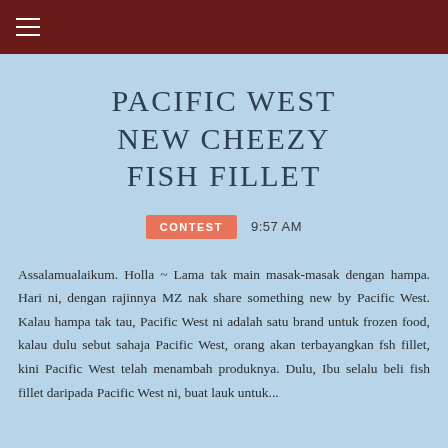☰ (hamburger menu icon)
PACIFIC WEST NEW CHEEZY FISH FILLET
CONTEST   9:57 AM
Assalamualaikum. Holla ~ Lama tak main masak-masak dengan hampa. Hari ni, dengan rajinnya MZ nak share something new by Pacific West. Kalau hampa tak tau, Pacific West ni adalah satu brand untuk frozen food, kalau dulu sebut sahaja Pacific West, orang akan terbayangkan fsh fillet, kini Pacific West telah menambah produknya. Dulu, Ibu selalu beli fish fillet daripada Pacific West ni, buat lauk untuk...